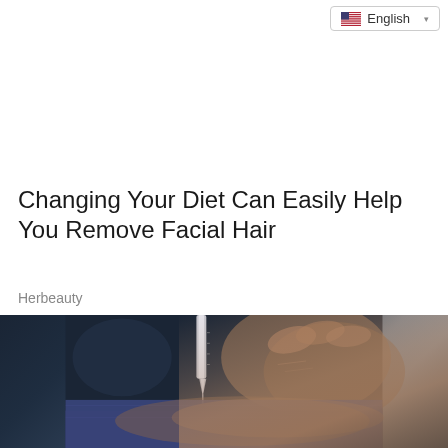English
Changing Your Diet Can Easily Help You Remove Facial Hair
Herbeauty
[Figure (photo): Close-up photo of a medical or cosmetic procedure showing a needle or syringe device being applied near a person's hand/skin, with dark background and blue fabric visible at the bottom]